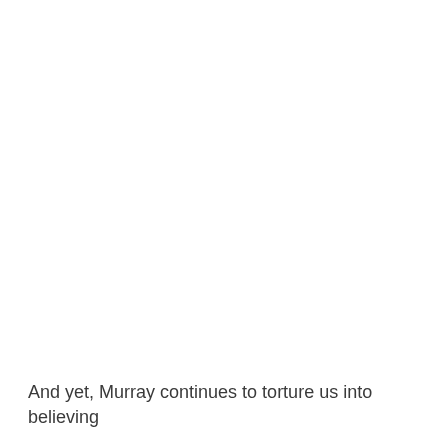And yet, Murray continues to torture us into believing